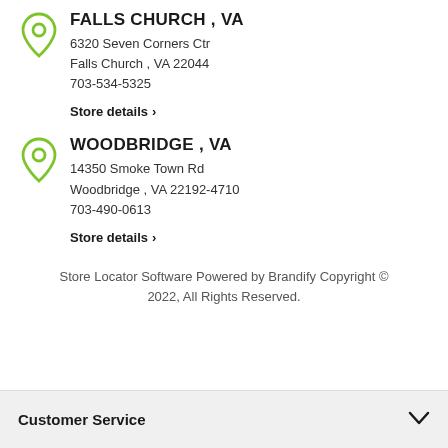FALLS CHURCH , VA
6320 Seven Corners Ctr
Falls Church , VA 22044
703-534-5325
Store details ›
WOODBRIDGE , VA
14350 Smoke Town Rd
Woodbridge , VA 22192-4710
703-490-0613
Store details ›
Store Locator Software Powered by Brandify Copyright © 2022, All Rights Reserved.
Customer Service